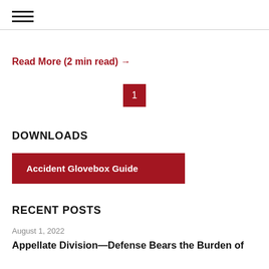[Figure (other): Hamburger menu icon with three horizontal lines]
Read More (2 min read) →
1
DOWNLOADS
Accident Glovebox Guide
RECENT POSTS
August 1, 2022
Appellate Division—Defense Bears the Burden of